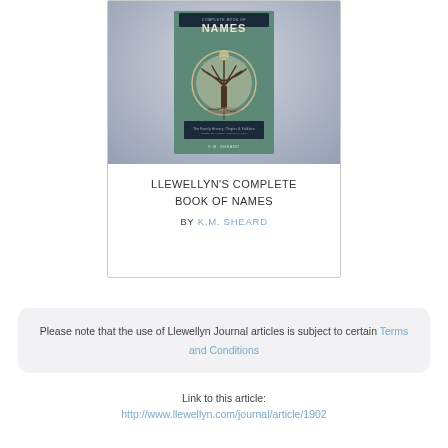[Figure (illustration): Book cover for Llewellyn's Complete Book of Names by K.M. Sheard, showing a tree illustration with decorative circular border on a teal/green background, with the word NAMES prominently displayed]
LLEWELLYN'S COMPLETE BOOK OF NAMES
BY K.M. SHEARD
Please note that the use of Llewellyn Journal articles is subject to certain Terms and Conditions
Link to this article:
http://www.llewellyn.com/journal/article/1902